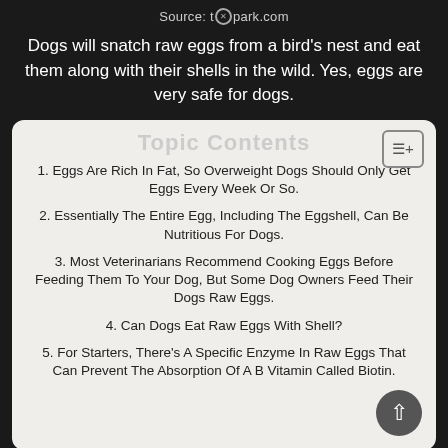Source: t✕park.com
Dogs will snatch raw eggs from a bird's nest and eat them along with their shells in the wild. Yes, eggs are very safe for dogs.
Topic Contents
1. Eggs Are Rich In Fat, So Overweight Dogs Should Only Get Eggs Every Week Or So.
2. Essentially The Entire Egg, Including The Eggshell, Can Be Nutritious For Dogs.
3. Most Veterinarians Recommend Cooking Eggs Before Feeding Them To Your Dog, But Some Dog Owners Feed Their Dogs Raw Eggs.
4. Can Dogs Eat Raw Eggs With Shell?
5. For Starters, There's A Specific Enzyme In Raw Eggs That Can Prevent The Absorption Of A B Vitamin Called Biotin.